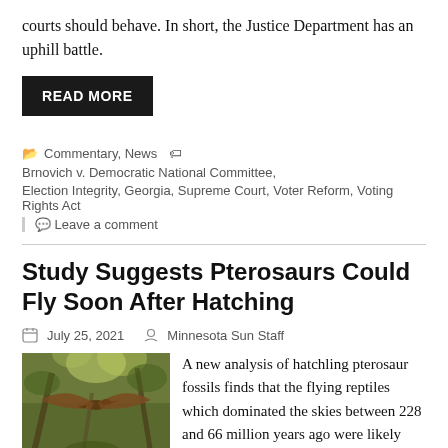courts should behave. In short, the Justice Department has an uphill battle.
READ MORE
Commentary, News  Brnovich v. Democratic National Committee, Election Integrity, Georgia, Supreme Court, Voter Reform, Voting Rights Act
Leave a comment
Study Suggests Pterosaurs Could Fly Soon After Hatching
July 25, 2021   Minnesota Sun Staff
[Figure (photo): Photograph of a pterosaur in flight viewed from below against a forest canopy background]
A new analysis of hatchling pterosaur fossils finds that the flying reptiles which dominated the skies between 228 and 66 million years ago were likely capable of flight within days or even hours after breaking out of their shells.
The study is published in the journal Scientific Reports